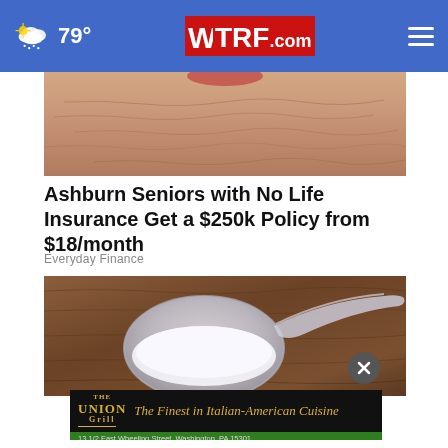WTRF.com | 79°
[Figure (photo): Close-up of elderly person's neck/chin showing wrinkled skin, cropped advertisement photo]
Ashburn Seniors with No Life Insurance Get a $250k Policy from $18/month
Everyday Finance
[Figure (photo): Plastic measuring scoop filled with white powder on a wooden surface, supplement/health product photo]
[Figure (logo): The Union Grill advertisement banner: 'The Finest in Italian-American Cuisine' — 13 1/2 East Wheeling Street, Washington, PA 15301 | 724-222-2860 | CLICK HERE to View our Menu]